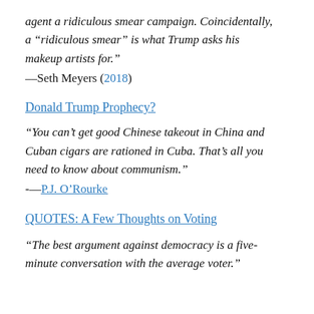agent a ridiculous smear campaign. Coincidentally, a “ridiculous smear” is what Trump asks his makeup artists for.”
––Seth Meyers (2018)
Donald Trump Prophecy?
“You can’t get good Chinese takeout in China and Cuban cigars are rationed in Cuba. That’s all you need to know about communism.”
-—P.J. O’Rourke
QUOTES: A Few Thoughts on Voting
“The best argument against democracy is a five-minute conversation with the average voter.”